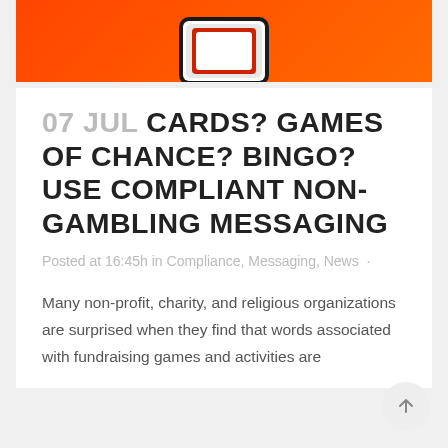[Figure (photo): Partial view of a smartphone with a red and white card/envelope on an orange background]
07 JUL CARDS? GAMES OF CHANCE? BINGO? USE COMPLIANT NON-GAMBLING MESSAGING
Posted at 16:45h in Compliance, Messaging, News ·
Many non-profit, charity, and religious organizations are surprised when they find that words associated with fundraising games and activities are prohibited...